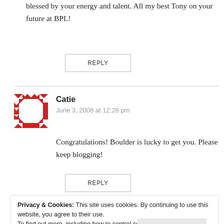blessed by your energy and talent. All my best Tony on your future at BPL!
REPLY
Catie
June 3, 2008 at 12:28 pm
Congratulations! Boulder is lucky to get you. Please keep blogging!
REPLY
Privacy & Cookies: This site uses cookies. By continuing to use this website, you agree to their use.
To find out more, including how to control cookies, see here: Cookie Policy
Close and accept